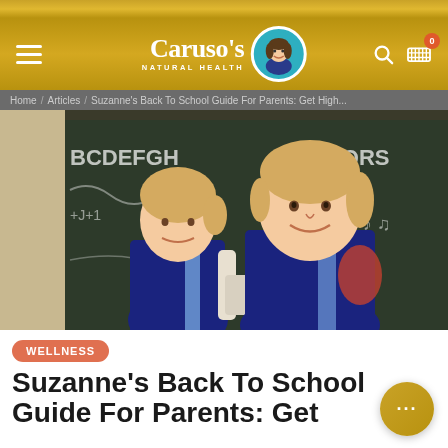Caruso's Natural Health
Home / Articles / Suzanne's Back To School Guide For Parents: Get High...
[Figure (photo): Two teenage girls in navy school uniforms smiling in front of a blackboard with alphabet letters written on it. One girl has a backpack.]
WELLNESS
Suzanne's Back To School Guide For Parents: Get